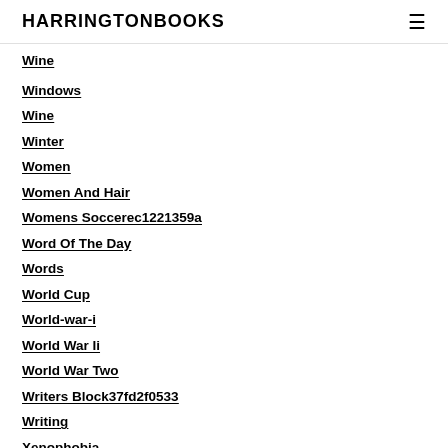HARRINGTONBOOKS
Wine (partial)
Windows
Wine
Winter
Women
Women And Hair
Womens Soccerec1221359a
Word Of The Day
Words
World Cup
World-war-i
World War Ii
World War Two
Writers Block37fd2f0533
Writing
Xenophobia
Yachts